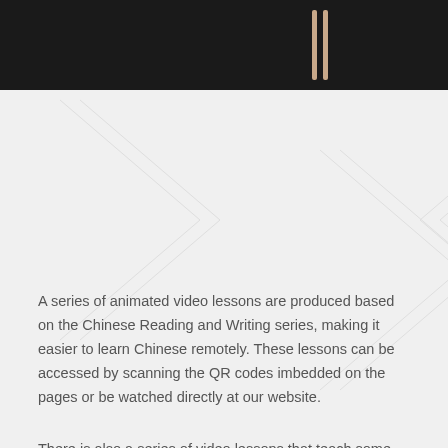[Figure (other): Dark black header bar with two vertical beige/tan lines on the right side]
A series of animated video lessons are produced based on the Chinese Reading and Writing series, making it easier to learn Chinese remotely. These lessons can be accessed by scanning the QR codes imbedded on the pages or be watched directly at our website.
There is also a series of video lessons that teach some must known Classical Chinese, selected from the rich 4000 plus Chinese literary history.